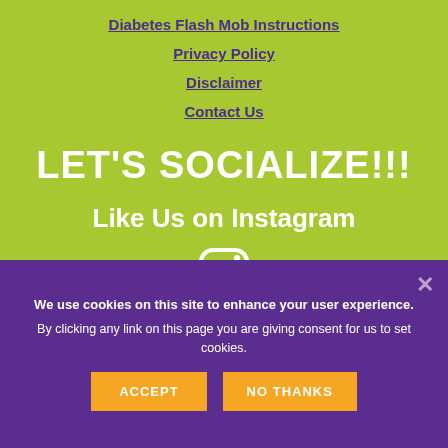Diabetes Flash Mob Instructions
Privacy Policy
Disclaimer
Contact Us
LET'S SOCIALIZE!!!
Like Us on Instagram
[Figure (logo): Instagram logo icon (white rounded square with camera outline)]
We use cookies on this site to enhance your user experience.
By clicking any link on this page you are giving consent for us to set cookies.
ACCEPT
NO THANKS